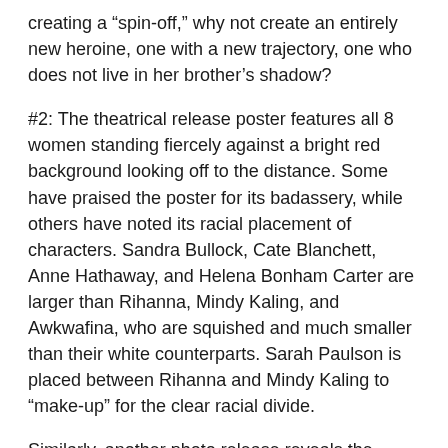creating a “spin-off,” why not create an entirely new heroine, one with a new trajectory, one who does not live in her brother’s shadow?
#2: The theatrical release poster features all 8 women standing fiercely against a bright red background looking off to the distance. Some have praised the poster for its badassery, while others have noted its racial placement of characters. Sandra Bullock, Cate Blanchett, Anne Hathaway, and Helena Bonham Carter are larger than Rihanna, Mindy Kaling, and Awkwafina, who are squished and much smaller than their white counterparts. Sarah Paulson is placed between Rihanna and Mindy Kaling to “make-up” for the clear racial divide.
Similarly, another photo release reveals the same racial placement.
Overall, Ocean’s 8 is a film that poses many important questions that are necessary to think about in an age of female